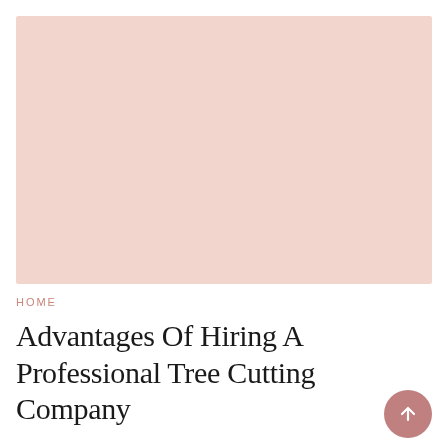[Figure (illustration): Large light pinkish-salmon colored rectangular placeholder image area]
HOME
Advantages Of Hiring A Professional Tree Cutting Company
February 23, 2022